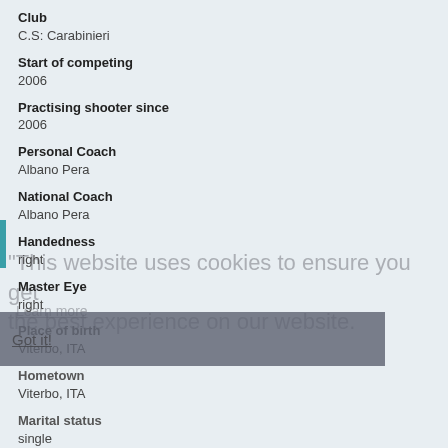Club
C.S: Carabinieri
Start of competing
2006
Practising shooter since
2006
Personal Coach
Albano Pera
National Coach
Albano Pera
Handedness
right
Master Eye
right
Place of birth
Viterbo, ITA
Hometown
Viterbo, ITA
Marital status
single
Events
TRM, TR125, TRMIX, TRTEAM
Higher education
High school
Hobbies
hunting, fishing